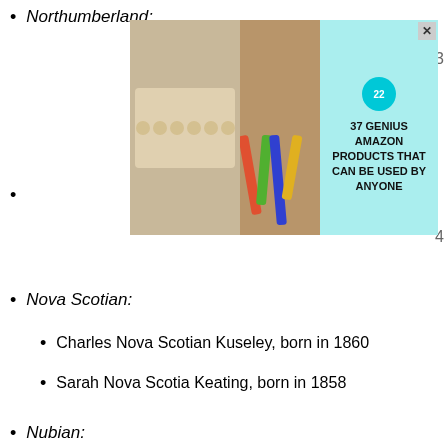Northumberland:  1873
[Figure (infographic): Advertisement banner: '37 GENIUS AMAZON PRODUCTS THAT CAN BE USED BY ANYONE' with food and beauty product images, 22 badge, X close button]
Nova Scotian:
Charles Nova Scotian Kuseley, born in 1860
Sarah Nova Scotia Keating, born in 1858
Nubian:
We use cookies on our website to give you the most relevant experience by remembering your preferences and repeat visits. By clicking “Accept”, you consent to the use of ALL the cookies.
Do no[t sell...]
CLOSE
[Figure (infographic): Advertisement banner: '37 ITEMS PEOPLE LOVE TO PURCHASE ON AMAZON' with dark food/kitchen images, 22 badge, X close button]